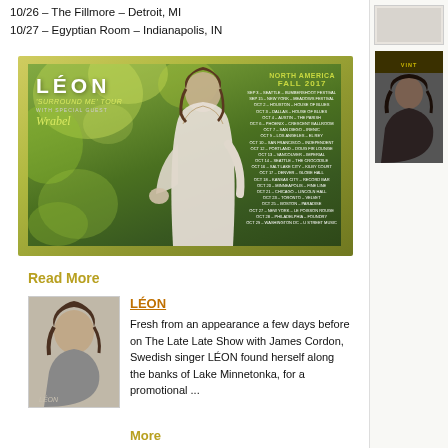10/26 – The Fillmore – Detroit, MI
10/27 – Egyptian Room – Indianapolis, IN
[Figure (photo): LÉON 'Surround Me Tour' promotional poster with tour dates for North America Fall 2017, featuring LÉON with special guest Wrabel. Shows a woman in white against a green leafy background.]
Read More
[Figure (photo): Black and white thumbnail photo of LÉON (album cover style)]
LÉON
Fresh from an appearance a few days before on The Late Late Show with James Cordon, Swedish singer LÉON found herself along the banks of Lake Minnetonka, for a promotional ...